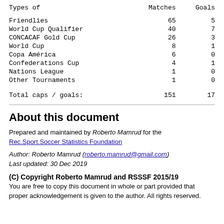| Types of | Matches | Goals |
| --- | --- | --- |
| Friendlies | 65 | 5 |
| World Cup Qualifier | 40 | 7 |
| CONCACAF Gold Cup | 26 | 3 |
| World Cup | 8 | 1 |
| Copa América | 6 | 0 |
| Confederations Cup | 4 | 1 |
| Nations League | 1 | 0 |
| Other Tournaments | 1 | 0 |
| Total caps / goals: | 151 | 17 |
About this document
Prepared and maintained by Roberto Mamrud for the Rec.Sport.Soccer Statistics Foundation
Author: Roberto Mamrud (roberto.mamrud@gmail.com)
Last updated: 30 Dec 2019
(C) Copyright Roberto Mamrud and RSSSF 2015/19
You are free to copy this document in whole or part provided that proper acknowledgement is given to the author. All rights reserved.